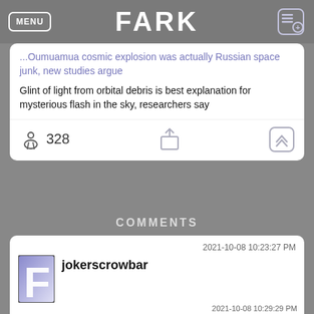MENU | FARK
...Oumuamua cosmic explosion was actually Russian space junk, new studies argue
Glint of light from orbital debris is best explanation for mysterious flash in the sky, researchers say
328
COMMENTS
2021-10-08 10:23:27 PM
jokerscrowbar
'It's a smegging garbage pod'
(1) (3)
2021-10-08 10:29:29 PM